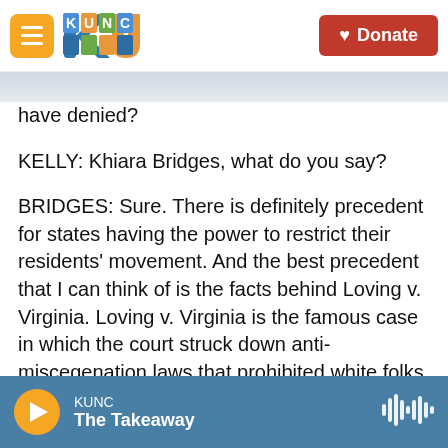KUNC — Donate
have denied?
KELLY: Khiara Bridges, what do you say?
BRIDGES: Sure. There is definitely precedent for states having the power to restrict their residents' movement. And the best precedent that I can think of is the facts behind Loving v. Virginia. Loving v. Virginia is the famous case in which the court struck down anti-miscegenation laws that prohibited white folks from marrying non-white folks. And the facts behind that case are that the Lovings traveled out of Virginia to D.C. in order to
KUNC — The Takeaway